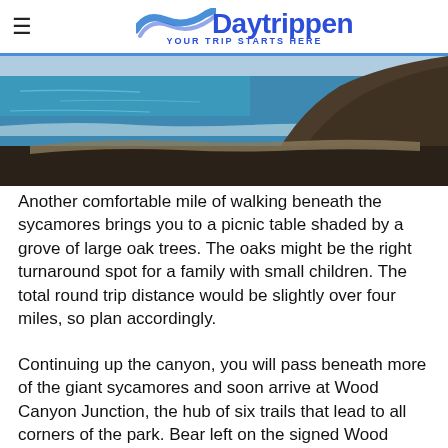≡  Daytrippen YOUR TRIP STARTS HERE
[Figure (photo): Aerial or elevated view of a rocky coastal cliff with ocean water and a narrow beach shoreline below.]
Another comfortable mile of walking beneath the sycamores brings you to a picnic table shaded by a grove of large oak trees. The oaks might be the right turnaround spot for a family with small children. The total round trip distance would be slightly over four miles, so plan accordingly.
Continuing up the canyon, you will pass beneath more of the giant sycamores and soon arrive at Wood Canyon Junction, the hub of six trails that lead to all corners of the park. Bear left on the signed Wood Canyon Trail, and you will reach Deer Camp Junction in a short while. Drinking water and picnic tables suggest a lunch stop.